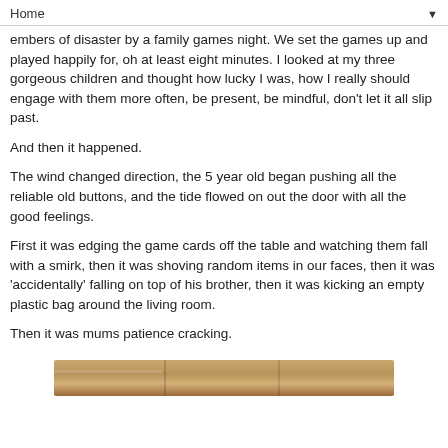Home ▼
embers of disaster by a family games night. We set the games up and played happily for, oh at least eight minutes. I looked at my three gorgeous children and thought how lucky I was, how I really should engage with them more often, be present, be mindful, don't let it all slip past.
And then it happened.
The wind changed direction, the 5 year old began pushing all the reliable old buttons, and the tide flowed on out the door with all the good feelings.
First it was edging the game cards off the table and watching them fall with a smirk, then it was shoving random items in our faces, then it was 'accidentally' falling on top of his brother, then it was kicking an empty plastic bag around the living room.
Then it was mums patience cracking.
[Figure (photo): Partial photo strip at bottom of page, appears to show warm toned indoor scene]